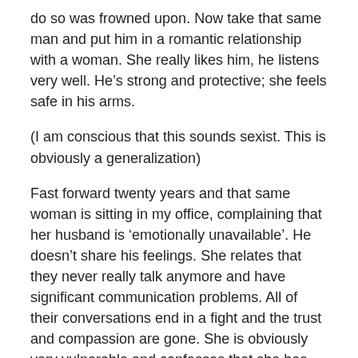do so was frowned upon. Now take that same man and put him in a romantic relationship with a woman. She really likes him, he listens very well. He’s strong and protective; she feels safe in his arms.
(I am conscious that this sounds sexist. This is obviously a generalization)
Fast forward twenty years and that same woman is sitting in my office, complaining that her husband is ‘emotionally unavailable’. He doesn’t share his feelings. She relates that they never really talk anymore and have significant communication problems. All of their conversations end in a fight and the trust and compassion are gone. She is obviously very vulnerable and confesses that she has been cheating on him. How could things have ended up so bad?